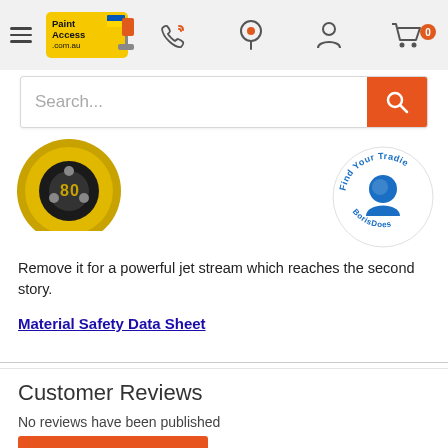PaintAccess.com.au navigation bar with logo, phone, location, account, and cart icons
[Figure (screenshot): Search bar with placeholder text 'Search...' and orange search button]
[Figure (photo): Partial product image - yellow and gold circular product (spray nozzle top view)]
[Figure (logo): Find Your Tradie circular badge with tradesperson silhouette]
Remove it for a powerful jet stream which reaches the second story.
Material Safety Data Sheet
Customer Reviews
No reviews have been published